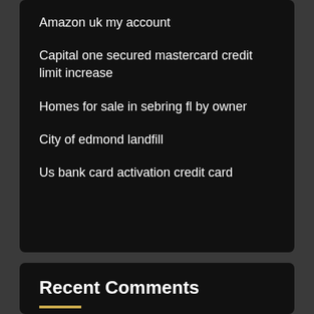Amazon uk my account
Capital one secured mastercard credit limit increase
Homes for sale in sebring fl by owner
City of edmond landfill
Us bank card activation credit card
Recent Comments
Najmul Hasan Rabby on First hawaiian bank